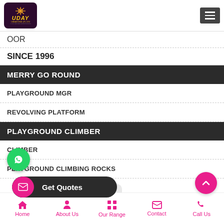[Figure (logo): Uday Creations Pvt Ltd logo - dark maroon rounded square with orange snowflake-like icon and UDAY text in gold italic]
OOR
SINCE 1996
MERRY GO ROUND
PLAYGROUND MGR
REVOLVING PLATFORM
PLAYGROUND CLIMBER
CLIMBER
PLAYGROUND CLIMBING ROCKS
Home  About Us  Our Range  Contact  Call Us